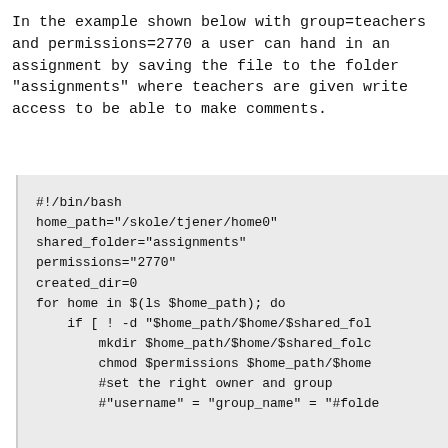In the example shown below with group=teachers and permissions=2770 a user can hand in an assignment by saving the file to the folder "assignments" where teachers are given write access to be able to make comments.
#!/bin/bash
home_path="/skole/tjener/home0"
shared_folder="assignments"
permissions="2770"
created_dir=0
for home in $(ls $home_path); do
    if [ ! -d "$home_path/$home/$shared_fol
        mkdir $home_path/$home/$shared_fold
        chmod $permissions $home_path/$home
        #set the right owner and group
        #"username" = "group_name" = "folde